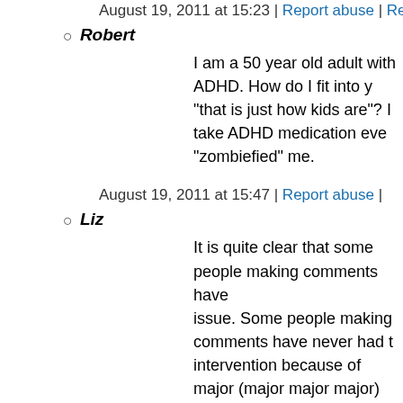August 19, 2011 at 15:23 | Report abuse | Reply
Robert
I am a 50 year old adult with ADHD. How do I fit into y... "that is just how kids are"? I take ADHD medication eve... "zombiefied" me.
August 19, 2011 at 15:47 | Report abuse |
Liz
It is quite clear that some people making comments have... issue. Some people making comments have never had t... intervention because of major (major major major) melt... attention. Some people making comments have never sh... money for their children to receive sensory integration t... is when "early intervention" runs out, and SI therapy is r... by the DSM). Some people making comments have nev... book recommended by their pediatrician to "manage" th... Explosive Child" and "The Difficult Child"). Some peop... never had repeated meetings with their child's preschool... help them cope at school. Some people making commen... Neuropsychologist after filling out endless questionnaire... and been told that their child "may have anxiety, may ha... Asperger's syndrome–he's still too young to say." Some ... never desperately tried cutting out any trace of sugar fro... helps them focus and listen. Some people making comm...